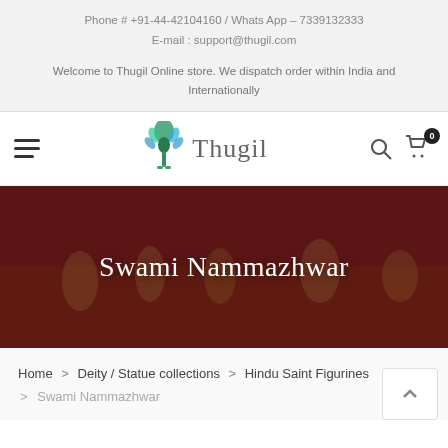Phone # +91-44-42104160 / Whats App – 7339132333
E-mail : support@thugil.com
Welcome to Thugil Online store. We dispatch order within India and Internationally
[Figure (logo): Thugil online store logo with stylized peacock/tree graphic and text 'Thugil']
[Figure (photo): Banner image showing traditional Indian folk/Kalamkari art painting on dark red background with musicians and figures; overlay text 'Swami Nammazhwar']
Swami Nammazhwar
Home > Deity / Statue collections > Hindu Saint Figurines > Swami Nammazhwar